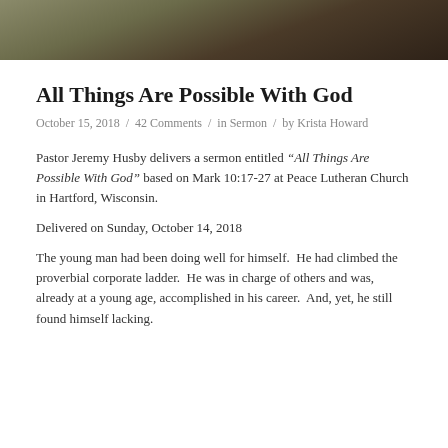[Figure (photo): Blurred indoor photo with olive/brown tones, partial view of a room]
All Things Are Possible With God
October 15, 2018 / 42 Comments / in Sermon / by Krista Howard
Pastor Jeremy Husby delivers a sermon entitled “All Things Are Possible With God” based on Mark 10:17-27 at Peace Lutheran Church in Hartford, Wisconsin.
Delivered on Sunday, October 14, 2018
The young man had been doing well for himself.  He had climbed the proverbial corporate ladder.  He was in charge of others and was, already at a young age, accomplished in his career.  And, yet, he still found himself lacking.